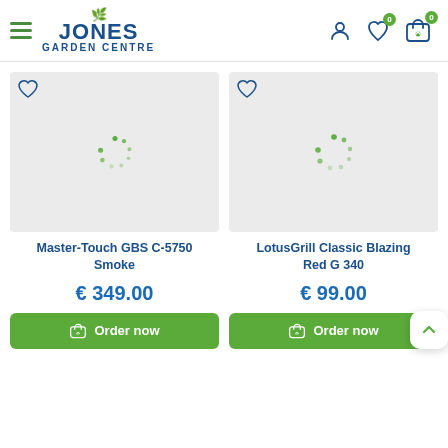Jones Garden Centre — navigation header with hamburger menu, logo, user icon, wishlist icon (0), and cart icon (0)
[Figure (screenshot): Product image placeholder with loading spinner for Master-Touch GBS C-5750 Smoke]
Master-Touch GBS C-5750 Smoke
€ 349.00
Order now
[Figure (screenshot): Product image placeholder with loading spinner for LotusGrill Classic Blazing Red G 340]
LotusGrill Classic Blazing Red G 340
€ 99.00
Order now